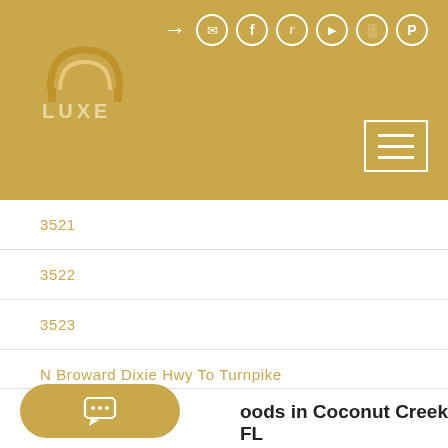[Figure (logo): Luxe real estate logo with golden arch/house icon and LUXE text on golden background]
3521
3522
3523
N Broward Dixie Hwy To Turnpike
North Broward Turnpike To 441
Pompano Beach
oods in Coconut Creek FL